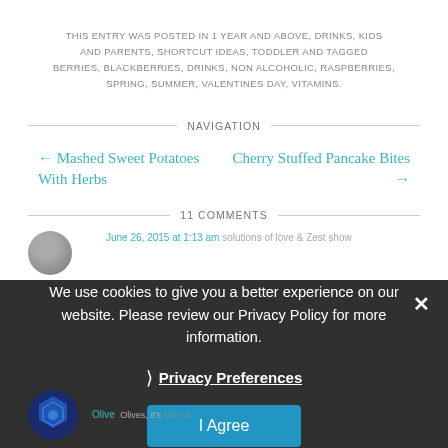THIS ENTRY WAS POSTED IN 1 YEAR AND ABOVE, DRINKS, KIDS AND PARENTS, SHORTCUT IDEAS, TODDLER AND TAGGED BERRIES, BLACKBERRIES, DRINKS, NON ALCOHOLIC, RASPBERRIES, SPRING, SUMMER, VALENTINES DAY, VITAMINS.
NAVIGATION
← Mashed Sweet Potatoes With Herbs
Cherry Stuffed Pancake Bites →
11 COMMENTS
We use cookies to give you a better experience on our website. Please review our Privacy Policy for more information.
Privacy Preferences
I Agree